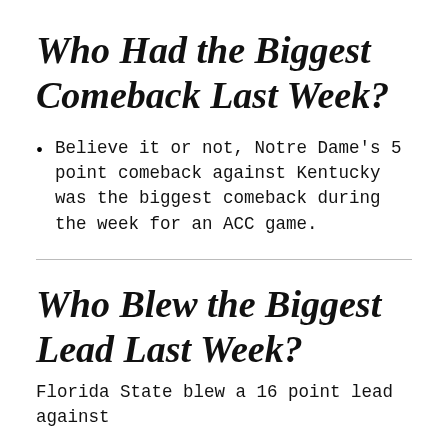Who Had the Biggest Comeback Last Week?
Believe it or not, Notre Dame's 5 point comeback against Kentucky was the biggest comeback during the week for an ACC game.
Who Blew the Biggest Lead Last Week?
Florida State blew a 16 point lead against...